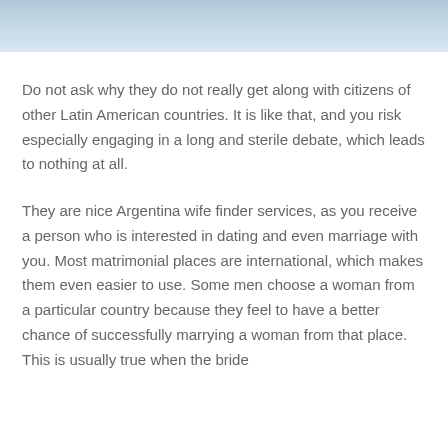[Figure (photo): Partial photo showing what appears to be a beach scene with ocean waves visible at the top of the page]
Do not ask why they do not really get along with citizens of other Latin American countries. It is like that, and you risk especially engaging in a long and sterile debate, which leads to nothing at all.
They are nice Argentina wife finder services, as you receive a person who is interested in dating and even marriage with you. Most matrimonial places are international, which makes them even easier to use. Some men choose a woman from a particular country because they feel to have a better chance of successfully marrying a woman from that place. This is usually true when the bride